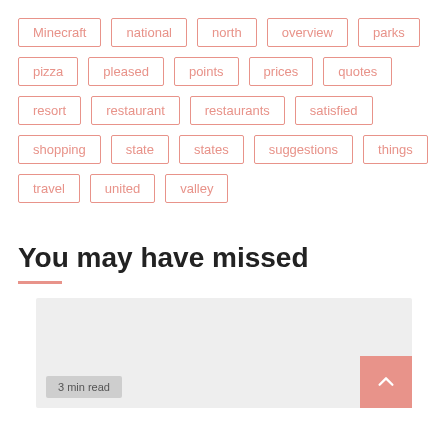Minecraft
national
north
overview
parks
pizza
pleased
points
prices
quotes
resort
restaurant
restaurants
satisfied
shopping
state
states
suggestions
things
travel
united
valley
You may have missed
[Figure (photo): Gray placeholder image card with a scroll-to-top button and a 3 min read badge]